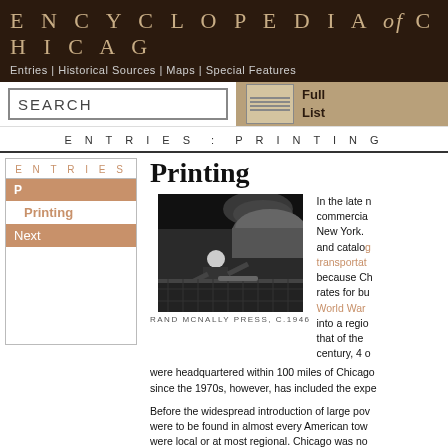ENCYCLOPEDIA of CHICAGO
Entries | Historical Sources | Maps | Special Features
SEARCH | Full List
ENTRIES : PRINTING
ENTRIES
P
Printing
Next
Printing
[Figure (photo): Black and white photograph of a worker at Rand McNally Press, c.1946, operating large printing machinery]
RAND MCNALLY PRESS, C.1946
In the late n commercial New York. and catalog transportat because Ch rates for bu World War into a regio that of the century, 4 were headquartered within 100 miles of Chicago since the 1970s, however, has included the expe
Before the widespread introduction of large pov were to be found in almost every American tow were local or at most regional. Chicago was no Gallows and the size of the was sent from...